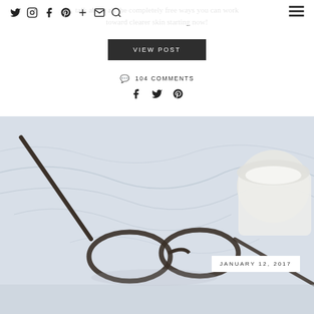talk about all the completely free ways you can work toward clearer skin starting now!
VIEW POST
104 COMMENTS
f  t  p (social share icons)
[Figure (photo): Flat lay photo on white marble surface showing glasses frames and a white candle in a glass jar, with a date label 'JANUARY 12, 2017' in white box overlay at top right]
JANUARY 12, 2017